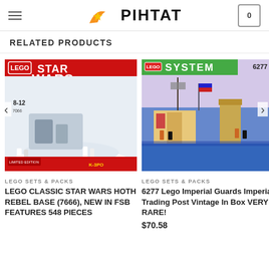PIHTAT
RELATED PRODUCTS
[Figure (photo): LEGO Classic Star Wars Hoth Rebel Base (7666) product box photo showing snow base scene]
[Figure (photo): 6277 Lego Imperial Guards Imperial Trading Post vintage set box photo]
LEGO SETS & PACKS
LEGO CLASSIC STAR WARS HOTH REBEL BASE (7666), NEW IN FSB FEATURES 548 PIECES
LEGO SETS & PACKS
6277 Lego Imperial Guards Imperial Trading Post Vintage In Box VERY RARE!
$70.58